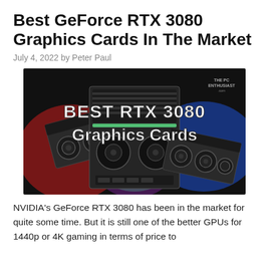Best GeForce RTX 3080 Graphics Cards In The Market
July 4, 2022 by Peter Paul
[Figure (photo): Promotional image showing three RTX 3080 graphics cards with colorful lighting (red, green/rainbow, blue) and bold white text overlay reading 'BEST RTX 3080 Graphics Cards' with The PC Enthusiast watermark in the upper right.]
NVIDIA's GeForce RTX 3080 has been in the market for quite some time. But it is still one of the better GPUs for 1440p or 4K gaming in terms of price to